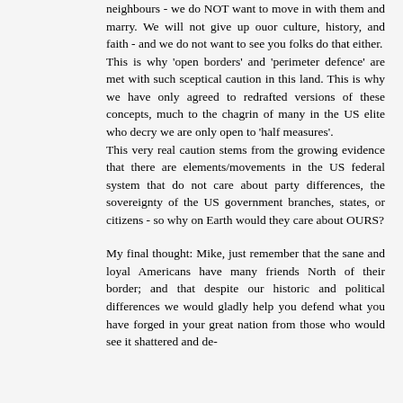neighbours - we do NOT want to move in with them and marry. We will not give up ouor culture, history, and faith - and we do not want to see you folks do that either. This is why 'open borders' and 'perimeter defence' are met with such sceptical caution in this land. This is why we have only agreed to redrafted versions of these concepts, much to the chagrin of many in the US elite who decry we are only open to 'half measures'. This very real caution stems from the growing evidence that there are elements/movements in the US federal system that do not care about party differences, the sovereignty of the US government branches, states, or citizens - so why on Earth would they care about OURS? My final thought: Mike, just remember that the sane and loyal Americans have many friends North of their border; and that despite our historic and political differences we would gladly help you defend what you have forged in your great nation from those who would see it shattered and de-